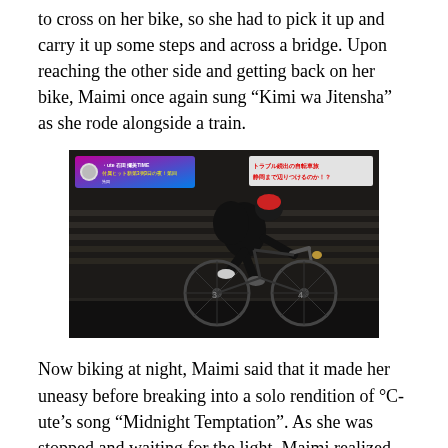to cross on her bike, so she had to pick it up and carry it up some steps and across a bridge. Upon reaching the other side and getting back on her bike, Maimi once again sung “Kimi wa Jitensha” as she rode alongside a train.
[Figure (photo): A screenshot from a Japanese TV program showing a person in dark cycling gear riding a road bike at night. There is a TV program overlay in the top-left with Japanese text and a circular profile image, and another overlay in the top-right with red Japanese text.]
Now biking at night, Maimi said that it made her uneasy before breaking into a solo rendition of °C-ute’s song “Midnight Temptation”. As she was stopped and waiting for the light, Maimi realized that the ocean was in front of her, though she couldn’t see it because it was pitch black.